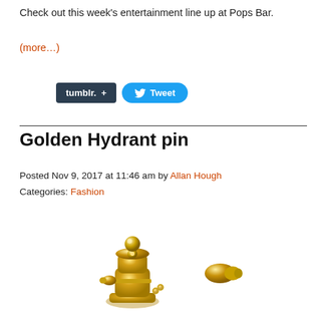Check out this week's entertainment line up at Pops Bar.
(more…)
[Figure (screenshot): Social sharing buttons: Tumblr share button (dark) and Tweet button (blue with bird icon)]
Golden Hydrant pin
Posted Nov 9, 2017 at 11:46 am by Allan Hough
Categories: Fashion
[Figure (photo): Close-up photo of a golden fire hydrant pin/brooch with shiny gold finish, showing the top and side details of the miniature hydrant]